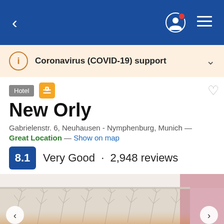Navigation bar with back arrow, user icon, and menu
Coronavirus (COVID-19) support
Hotel | New Orly
New Orly
Gabrielenstr. 6, Neuhausen - Nymphenburg, Munich — Great Location — Show on map
8.1 Very Good · 2,948 reviews
[Figure (photo): Hotel room interior with patterned wallpaper featuring branch/tree motif in white/grey, white ceiling, pink accent wall on right, warm lighting from below]